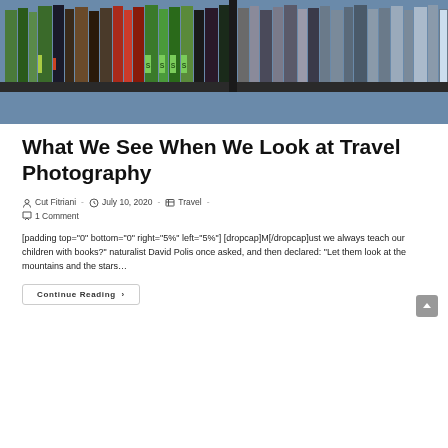[Figure (photo): A photo of a bookshelf filled with colorful books, including many with green spines, viewed straight on.]
What We See When We Look at Travel Photography
Post author: Cut Fitriani - Post date: July 10, 2020 - Post category: Travel - 1 Comment
[padding top="0" bottom="0" right="5%" left="5%"] [dropcap]M[/dropcap]ust we always teach our children with books?" naturalist David Polis once asked, and then declared: "Let them look at the mountains and the stars…
Continue Reading ›